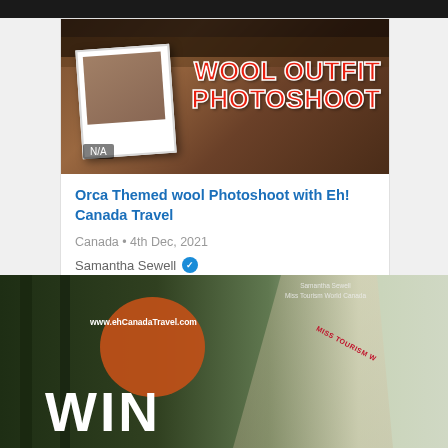[Figure (photo): Thumbnail image for article: dark forested background with polaroid-style photo on left and bold red text 'WOOL OUTFIT PHOTOSHOOT' on right, with 'N/A' badge]
Orca Themed wool Photoshoot with Eh! Canada Travel
Canada • 4th Dec, 2021
Samantha Sewell ✔
641  6  2
[Figure (photo): Promotional image for Eh! Canada Travel: forest background with orange circle, www.ehCanadaTravel.com text, large white WIN text, and a young woman wearing a Miss Tourism World Canada sash and knit sweater]